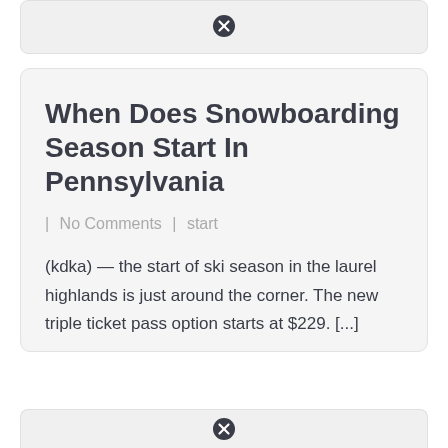[Figure (other): Close/dismiss icon (circle with X) at top center of a card UI element]
When Does Snowboarding Season Start In Pennsylvania
| No Comments | start
(kdka) — the start of ski season in the laurel highlands is just around the corner. The new triple ticket pass option starts at $229. [...]
[Figure (other): Close/dismiss icon (circle with X) at bottom center of a card UI element]